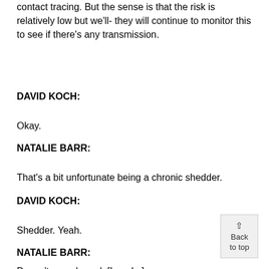contact tracing. But the sense is that the risk is relatively low but we'll- they will continue to monitor this to see if there's any transmission.
DAVID KOCH:
Okay.
NATALIE BARR:
That's a bit unfortunate being a chronic shedder.
DAVID KOCH:
Shedder. Yeah.
NATALIE BARR:
Doesn't sound good. [Laughs]
Back to top